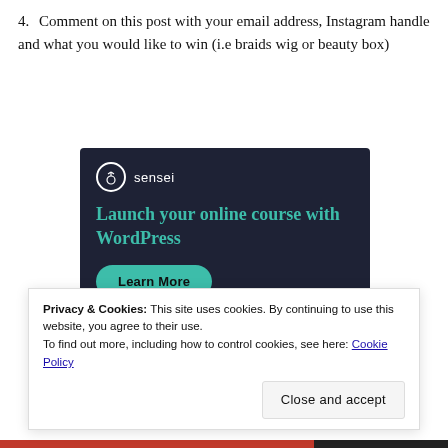4. Comment on this post with your email address, Instagram handle and what you would like to win (i.e braids wig or beauty box)
[Figure (other): Sensei advertisement banner: dark navy background with Sensei logo (tree icon in circle), teal headline 'Launch your online course with WordPress', and a teal 'Learn More' button.]
Privacy & Cookies: This site uses cookies. By continuing to use this website, you agree to their use. To find out more, including how to control cookies, see here: Cookie Policy
Close and accept